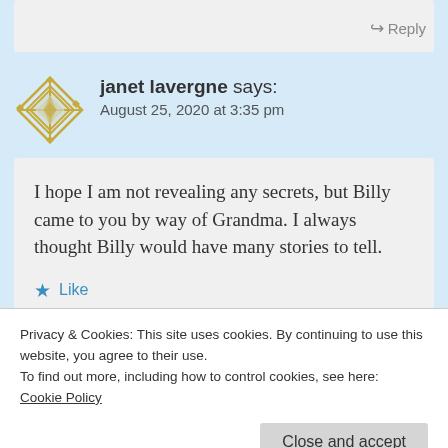↪ Reply
janet lavergne says:
August 25, 2020 at 3:35 pm
I hope I am not revealing any secrets, but Billy came to you by way of Grandma. I always thought Billy would have many stories to tell.
★ Like
Privacy & Cookies: This site uses cookies. By continuing to use this website, you agree to their use.
To find out more, including how to control cookies, see here:
Cookie Policy
Close and accept